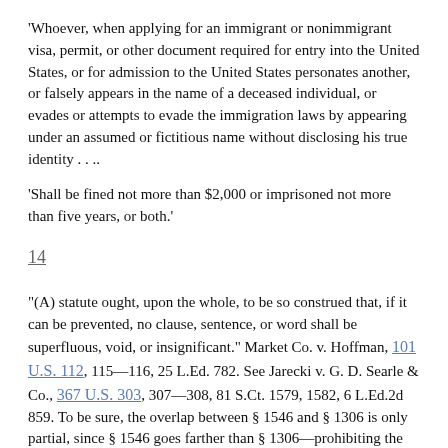'Whoever, when applying for an immigrant or nonimmigrant visa, permit, or other document required for entry into the United States, or for admission to the United States personates another, or falsely appears in the name of a deceased individual, or evades or attempts to evade the immigration laws by appearing under an assumed or fictitious name without disclosing his true identity . . ..
'Shall be fined not more than $2,000 or imprisoned not more than five years, or both.'
14
"(A) statute ought, upon the whole, to be so construed that, if it can be prevented, no clause, sentence, or word shall be superfluous, void, or insignificant." Market Co. v. Hoffman, 101 U.S. 112, 115—116, 25 L.Ed. 782. See Jarecki v. G. D. Searle & Co., 367 U.S. 303, 307—308, 81 S.Ct. 1579, 1582, 6 L.Ed.2d 859. To be sure, the overlap between § 1546 and § 1306 is only partial, since § 1546 goes farther than § 1306—prohibiting the possession of counterfeit documents as well as the counterfeiting of documents. But the Congress would hardly have thought it necessary to create any overlap at all, if it had believed